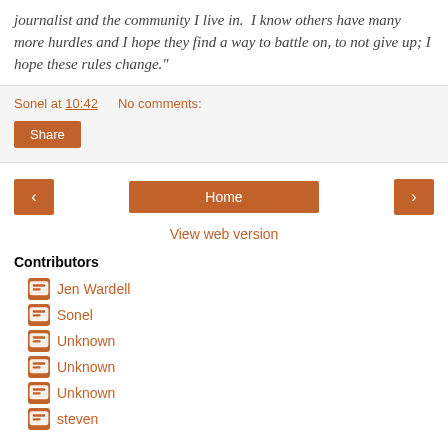journalist and the community I live in.  I know others have many more hurdles and I hope they find a way to battle on, to not give up; I hope these rules change."
Sonel at 10:42    No comments:
Share
[Figure (screenshot): Navigation buttons: left arrow, Home button, right arrow]
View web version
Contributors
Jen Wardell
Sonel
Unknown
Unknown
Unknown
steven